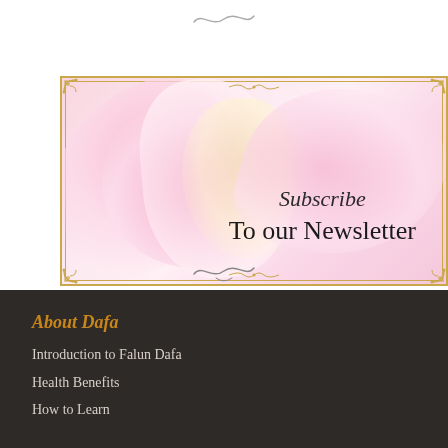[Figure (illustration): Newsletter subscription banner with lotus flower pink petal background and decorative gold ornamental border. Text reads 'Subscribe To our Newsletter']
About Dafa
Introduction to Falun Dafa
Health Benefits
How to Learn